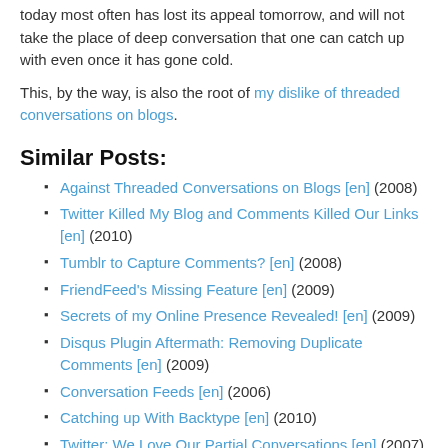today most often has lost its appeal tomorrow, and will not take the place of deep conversation that one can catch up with even once it has gone cold.
This, by the way, is also the root of my dislike of threaded conversations on blogs.
Similar Posts:
Against Threaded Conversations on Blogs [en] (2008)
Twitter Killed My Blog and Comments Killed Our Links [en] (2010)
Tumblr to Capture Comments? [en] (2008)
FriendFeed's Missing Feature [en] (2009)
Secrets of my Online Presence Revealed! [en] (2009)
Disqus Plugin Aftermath: Removing Duplicate Comments [en] (2009)
Conversation Feeds [en] (2006)
Catching up With Backtype [en] (2010)
Twitter: We Love Our Partial Conversations [en] (2007)
Back Online [en] (2008)
[Figure (infographic): Social share buttons: Facebook, Google+, Twitter, Tumblr, LinkedIn, Pocket]